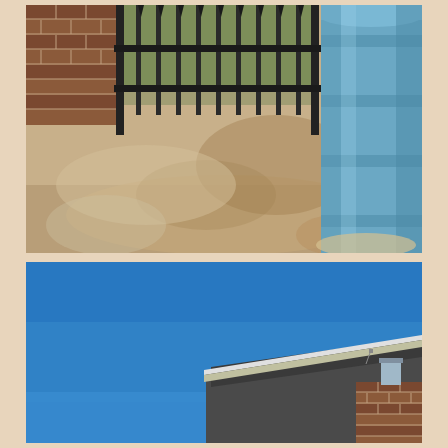[Figure (photo): Outdoor concrete patio or walkway with a large blue cylindrical metal barrel/drum on the right side, a black iron fence gate and brick wall in the background, with some staining/discoloration on the concrete surface]
[Figure (photo): Looking up at a clear blue sky with the angled roofline of a brick building visible in the lower right corner, showing roof shingles and a gutter]